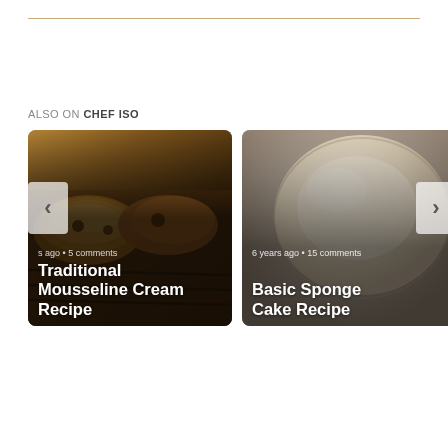ALSO ON CHEF ISO
[Figure (photo): Card showing pastries/croissants on a baking rack with text: '5 comments', 'Traditional Mousseline Cream Recipe'. Left navigation arrow button visible.]
[Figure (photo): Card showing a round sponge cake with text: '6 years ago • 15 comments', 'Basic Sponge Cake Recipe'. Right navigation arrow button visible.]